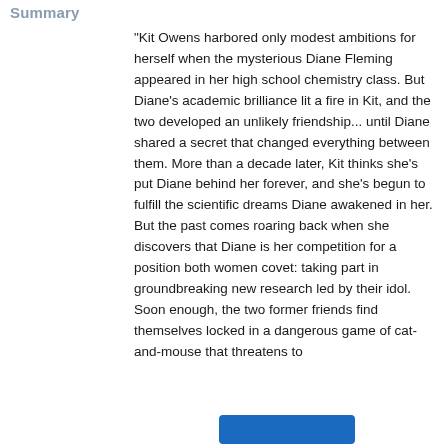Summary
"Kit Owens harbored only modest ambitions for herself when the mysterious Diane Fleming appeared in her high school chemistry class. But Diane's academic brilliance lit a fire in Kit, and the two developed an unlikely friendship... until Diane shared a secret that changed everything between them. More than a decade later, Kit thinks she's put Diane behind her forever, and she's begun to fulfill the scientific dreams Diane awakened in her. But the past comes roaring back when she discovers that Diane is her competition for a position both women covet: taking part in groundbreaking new research led by their idol. Soon enough, the two former friends find themselves locked in a dangerous game of cat-and-mouse that threatens to